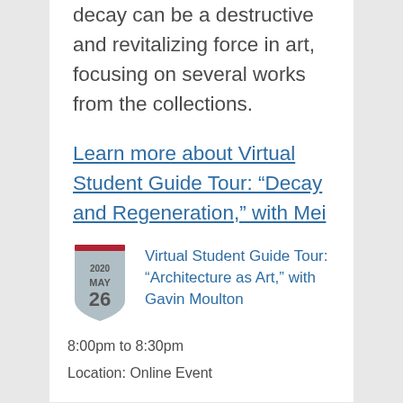decay can be a destructive and revitalizing force in art, focusing on several works from the collections.
Learn more about Virtual Student Guide Tour: “Decay and Regeneration,” with Mei Tercek
Virtual Student Guide Tour: “Architecture as Art,” with Gavin Moulton
8:00pm to 8:30pm
Location: Online Event